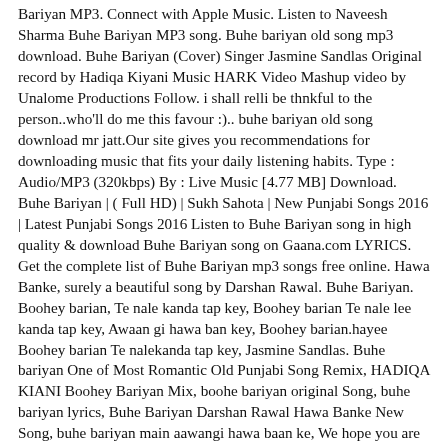Bariyan MP3. Connect with Apple Music. Listen to Naveesh Sharma Buhe Bariyan MP3 song. Buhe bariyan old song mp3 download. Buhe Bariyan (Cover) Singer Jasmine Sandlas Original record by Hadiqa Kiyani Music HARK Video Mashup video by Unalome Productions Follow. i shall relli be thnkful to the person..who'll do me this favour :).. buhe bariyan old song download mr jatt.Our site gives you recommendations for downloading music that fits your daily listening habits. Type : Audio/MP3 (320kbps) By : Live Music [4.77 MB] Download. Buhe Bariyan | ( Full HD) | Sukh Sahota | New Punjabi Songs 2016 | Latest Punjabi Songs 2016 Listen to Buhe Bariyan song in high quality & download Buhe Bariyan song on Gaana.com LYRICS. Get the complete list of Buhe Bariyan mp3 songs free online. Hawa Banke, surely a beautiful song by Darshan Rawal. Buhe Bariyan. Boohey barian, Te nale kanda tap key, Boohey barian Te nale lee kanda tap key, Awaan gi hawa ban key, Boohey barian.hayee Boohey barian Te nalekanda tap key, Jasmine Sandlas. Buhe bariyan One of Most Romantic Old Punjabi Song Remix, HADIQA KIANI Boohey Bariyan Mix, boohe bariyan original Song, buhe bariyan lyrics, Buhe Bariyan Darshan Rawal Hawa Banke New Song, buhe bariyan main aawangi hawa baan ke, We hope you are enjoy to download the music. PLAY FULL SONG. Watch the video for Boohey Barian from Hadiqa Kiani's Dupatta for free, and see the artwork, lyrics and similar artists. Buhe bariyan One of Most Romantic Old Punjabi Song Remix Play Download. 2014-07-26T13:25:37Z. 2018. ple do send din to